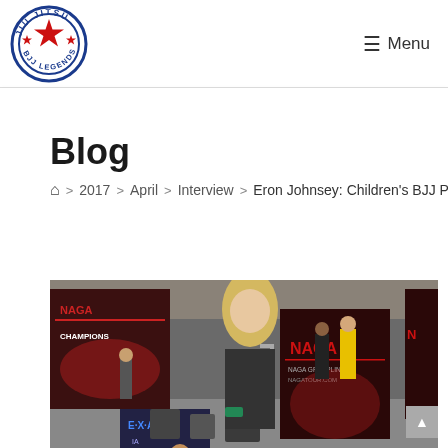[Figure (logo): Jiu Jitsu BJJ Legends circular logo with red star and blue text]
☰  Menu
Blog
⌂ > 2017 > April > Interview > Eron Johnsey: Children's BJJ Progr
[Figure (photo): Photo of a woman with blonde hair at a NAGA martial arts tournament venue, standing among chairs and tournament banners including NAGA Champions and EXALT signs. A child is visible in the foreground.]